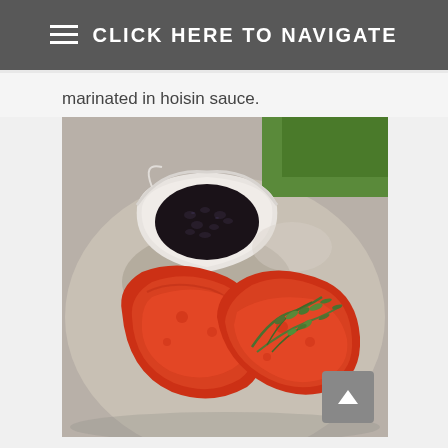☰ CLICK HERE TO NAVIGATE
marinated in hoisin sauce.
[Figure (photo): A plate with two pieces of chicken glazed in red sauce garnished with fresh thyme, and a small white bowl filled with black beans, placed on a gray ceramic plate.]